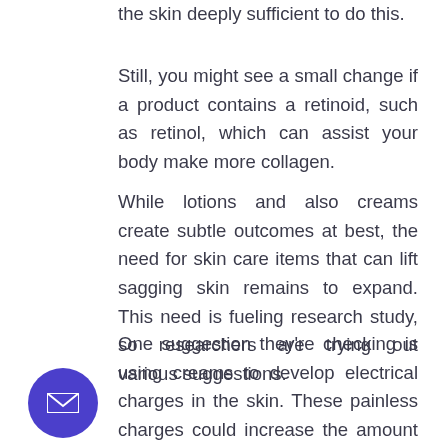the skin deeply sufficient to do this.
Still, you might see a small change if a product contains a retinoid, such as retinol, which can assist your body make more collagen.
While lotions and also creams create subtle outcomes at best, the need for skin care items that can lift sagging skin remains to expand. This need is fueling research study, so researchers are trying out various suggestions.
One suggestion they’re checking is using creams to develop electrical charges in the skin. These painless charges could increase the amount of collagen in the skin, which would bring about er skin.
Small tightening and